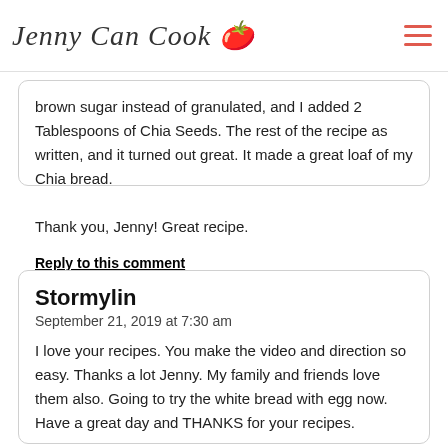Jenny Can Cook
brown sugar instead of granulated, and I added 2 Tablespoons of Chia Seeds. The rest of the recipe as written, and it turned out great. It made a great loaf of my Chia bread.

Thank you, Jenny! Great recipe.
Reply to this comment
Stormylin
September 21, 2019 at 7:30 am
I love your recipes. You make the video and direction so easy. Thanks a lot Jenny. My family and friends love them also. Going to try the white bread with egg now. Have a great day and THANKS for your recipes.
Reply to this comment